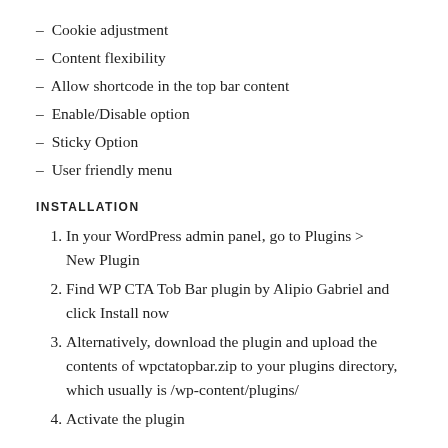– Cookie adjustment
– Content flexibility
– Allow shortcode in the top bar content
– Enable/Disable option
– Sticky Option
– User friendly menu
INSTALLATION
1. In your WordPress admin panel, go to Plugins > New Plugin
2. Find WP CTA Tob Bar plugin by Alipio Gabriel and click Install now
3. Alternatively, download the plugin and upload the contents of wpctatopbar.zip to your plugins directory, which usually is /wp-content/plugins/
4. Activate the plugin
USAGE